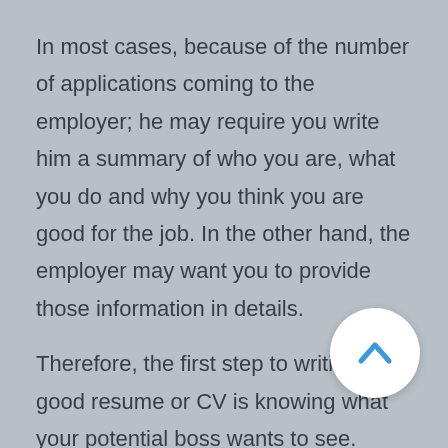In most cases, because of the number of applications coming to the employer; he may require you write him a summary of who you are, what you do and why you think you are good for the job. In the other hand, the employer may want you to provide those information in details.
Therefore, the first step to writing a good resume or CV is knowing what your potential boss wants to see.
A good CV or a well written resume is the most critical point of getting the job you are applying for. However, there are so many apps
[Figure (other): A circular white button with a blue upward chevron/caret arrow icon, used as a scroll-to-top navigation button.]